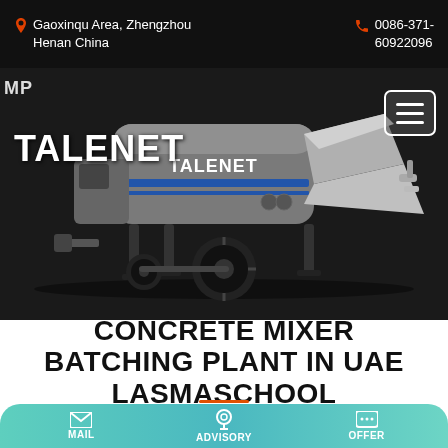Gaoxinqu Area, Zhengzhou Henan China | 0086-371-60922096
[Figure (photo): Talenet branded concrete mixer / trailer pump machine on dark background. The machine is gray with blue stripes, has large black wheels, and extends to the right with a hopper.]
CONCRETE MIXER BATCHING PLANT IN UAE LASMASCHOOL
MAIL | ADVISORY | OFFER